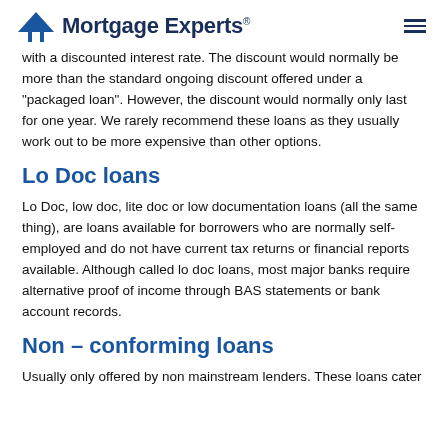Mortgage Experts
with a discounted interest rate. The discount would normally be more than the standard ongoing discount offered under a “packaged loan”. However, the discount would normally only last for one year. We rarely recommend these loans as they usually work out to be more expensive than other options.
Lo Doc loans
Lo Doc, low doc, lite doc or low documentation loans (all the same thing), are loans available for borrowers who are normally self-employed and do not have current tax returns or financial reports available. Although called lo doc loans, most major banks require alternative proof of income through BAS statements or bank account records.
Non – conforming loans
Usually only offered by non mainstream lenders. These loans cater